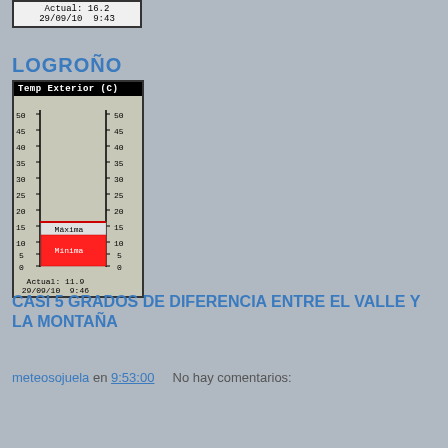[Figure (other): Weather widget showing temperature gauge with Actual: 16.2, dated 29/09/10 9:43]
LOGROÑO
[Figure (bar-chart): Vertical thermometer-style bar chart showing Máxima around 14°C and Mínima around 10°C, Actual: 11.9, dated 29/09/10 9:46]
CASI 5 GRADOS DE DIFERENCIA ENTRE EL VALLE Y LA MONTAÑA
meteosojuela en 9:53:00   No hay comentarios:
Compartir